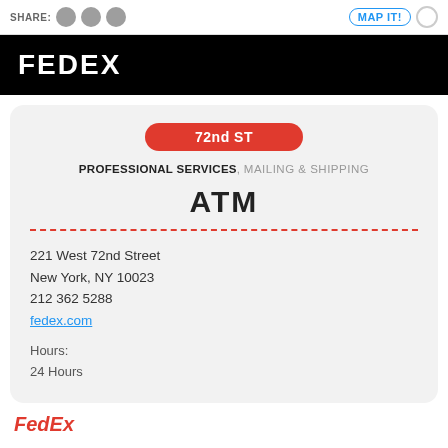SHARE: [social icons] MAP IT!
FEDEX
72nd ST
PROFESSIONAL SERVICES, MAILING & SHIPPING
ATM
221 West 72nd Street
New York, NY 10023
212 362 5288
fedex.com
Hours:
24 Hours
FedEx